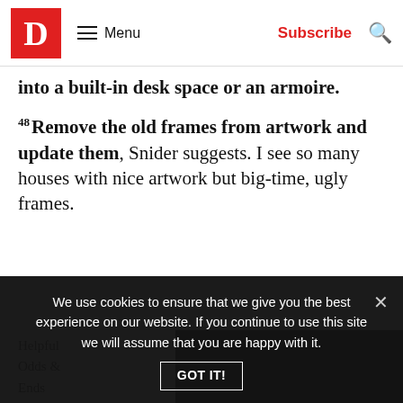D Menu Subscribe
into a built-in desk space or an armoire.
48 Remove the old frames from artwork and update them, Snider suggests. I see so many houses with nice artwork but big-time, ugly frames.
Helpful
Odds &
Ends
49 Create
[Figure (photo): Dark/black image panel on the right side of the page]
We use cookies to ensure that we give you the best experience on our website. If you continue to use this site we will assume that you are happy with it.
GOT IT!